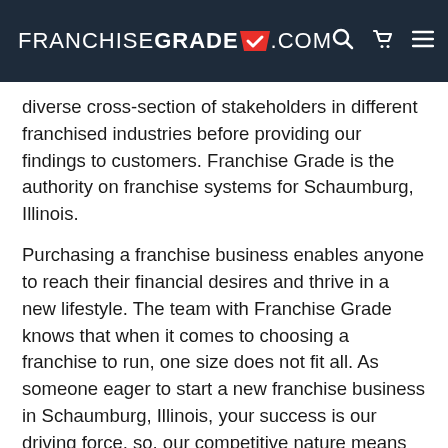FRANCHISEGRADE✓.COM
diverse cross-section of stakeholders in different franchised industries before providing our findings to customers. Franchise Grade is the authority on franchise systems for Schaumburg, Illinois.
Purchasing a franchise business enables anyone to reach their financial desires and thrive in a new lifestyle. The team with Franchise Grade knows that when it comes to choosing a franchise to run, one size does not fit all. As someone eager to start a new franchise business in Schaumburg, Illinois, your success is our driving force, so, our competitive nature means we crush any goals we set for you. We report with information and research to help you make an informed and life-changing move. We have helped thousands of entrepreneurs Find The Best™ business. Opening and